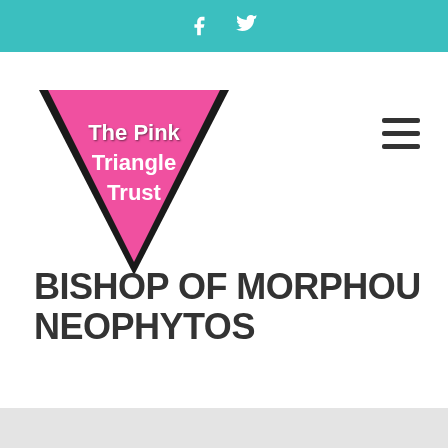Social media icons (Facebook, Twitter)
[Figure (logo): The Pink Triangle Trust logo: a downward-pointing pink triangle with black outline and white bold text reading 'The Pink Triangle Trust']
BISHOP OF MORPHOU NEOPHYTOS